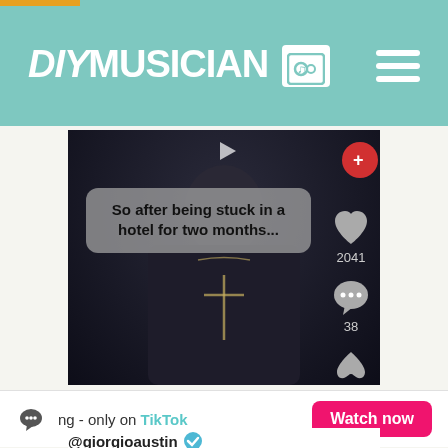DIY MUSICIAN
[Figure (screenshot): TikTok video screenshot showing a person in a dark shirt with a cross necklace. A semi-transparent caption bubble reads 'So after being stuck in a hotel for two months...' TikTok sidebar icons show heart (2041), comment bubble (38), and share (29).]
ng - only on TikTok  Watch now
@giorgioaustin ✓